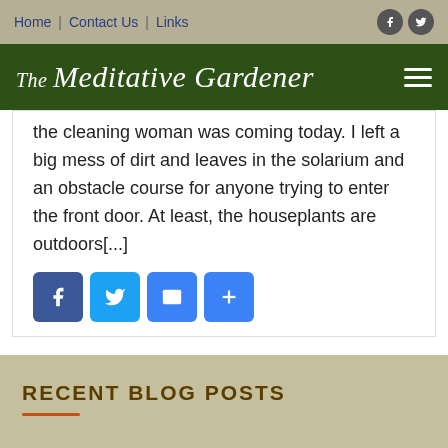Home | Contact Us | Links
The Meditative Gardener
the cleaning woman was coming today. I left a big mess of dirt and leaves in the solarium and an obstacle course for anyone trying to enter the front door. At least, the houseplants are outdoors[...]
[Figure (illustration): Social share buttons: Facebook (blue), Twitter (blue), Email (blue), More/Plus (blue)]
RECENT BLOG POSTS